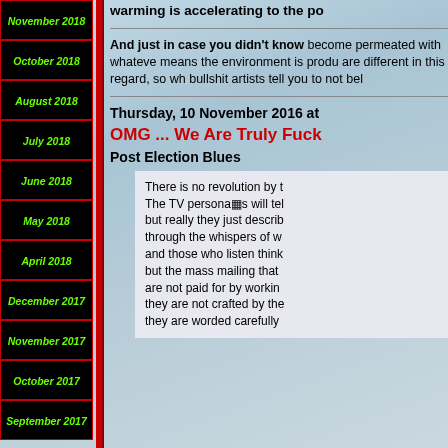November 2018
October 2018
August 2018
July 2018
June 2018
May 2018
April 2018
December 2017
November 2017
October 2017
September 2017
warming is accelerating to the po
And just in case you didn't know become permeated with whateve means the environment is produ are different in this regard, so wh bullshit artists tell you to not bel
Thursday, 10 November 2016 at
OMG ... We Are Truly Fuck
Post Election Blues
There is no revolution by t The TV persona�s will tel but really they just describ through the whispers of w and those who listen think but the mass mailing that are not paid for by workin they are not crafted by the they are worded carefully